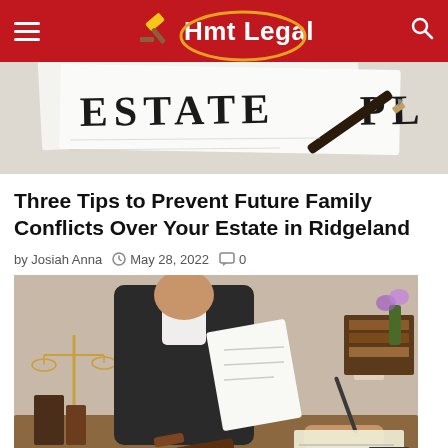Hmt Legal
[Figure (photo): Cropped estate planning document with text 'ESTATE' visible and a pen resting on top of the paper]
Three Tips to Prevent Future Family Conflicts Over Your Estate in Ridgeland
by Josiah Anna  May 28, 2022  0
[Figure (photo): Lawyer in dark suit handing documents to a client across a desk. A scales of justice is visible on the left, books and a small house model in the background, and a gavel on the desk. The client is signing a document.]